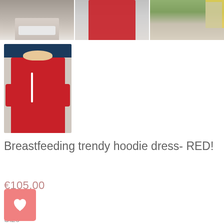[Figure (photo): Three thumbnail photos of a woman modeling a red hoodie dress, shown from different angles and locations]
[Figure (photo): Main product photo of a blonde woman wearing a red breastfeeding hoodie dress with white zipper detail, against a dark blue and gray background]
Breastfeeding trendy hoodie dress- RED!
€105,00
Size